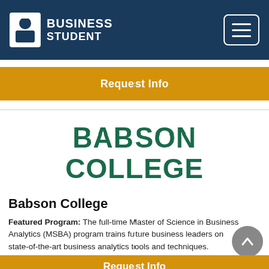BUSINESS STUDENT
Request Info
[Figure (logo): Babson College logo with large bold green text reading BABSON COLLEGE]
Babson College
Featured Program: The full-time Master of Science in Business Analytics (MSBA) program trains future business leaders on state-of-the-art business analytics tools and techniques.
Request Info